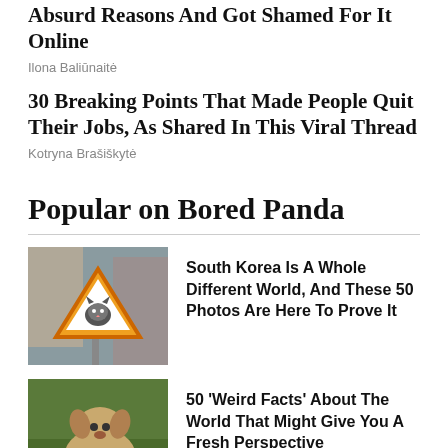Absurd Reasons And Got Shamed For It Online
Ilona Baliūnaitė
30 Breaking Points That Made People Quit Their Jobs, As Shared In This Viral Thread
Kotryna Brašiškytė
Popular on Bored Panda
[Figure (photo): A triangular warning road sign with a cat illustration on it, mounted outdoors]
South Korea Is A Whole Different World, And These 50 Photos Are Here To Prove It
[Figure (photo): A dog or animal being held outdoors on grass]
50 'Weird Facts' About The World That Might Give You A Fresh Perspective